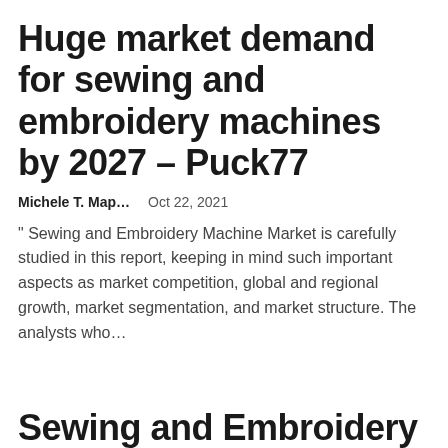Huge market demand for sewing and embroidery machines by 2027 – Puck77
Michele T. Map…    Oct 22, 2021
" Sewing and Embroidery Machine Market is carefully studied in this report, keeping in mind such important aspects as market competition, global and regional growth, market segmentation, and market structure. The analysts who…
Sewing and Embroidery